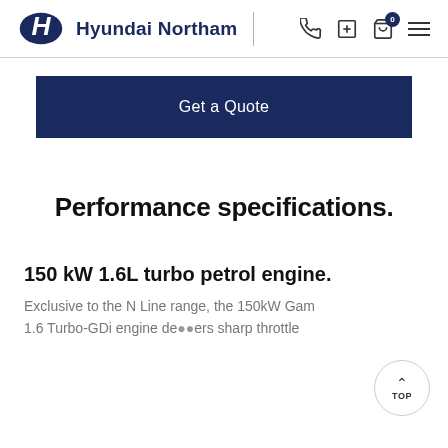Hyundai Northam
Get a Quote
Performance specifications.
150 kW 1.6L turbo petrol engine.
Exclusive to the N Line range, the 150kW Gamma 1.6 Turbo-GDi engine delivers sharp throttle